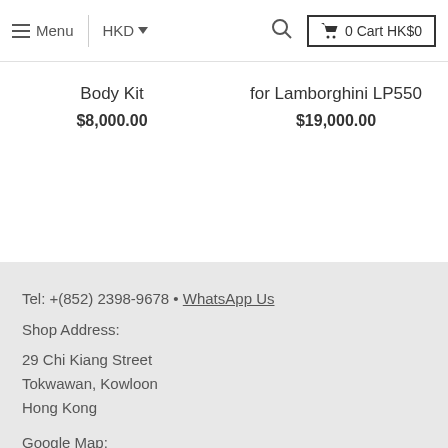Menu | HKD | Search | 0 Cart HK$0
Body Kit
$8,000.00
for Lamborghini LP550
$19,000.00
Tel: +(852) 2398-9678 • WhatsApp Us
Shop Address:
29 Chi Kiang Street
Tokwawan, Kowloon
Hong Kong
Google Map:
https://goo.gl/maps/PTehaFQTaFotfuVo9
[Figure (logo): Facebook and Instagram social media icons]